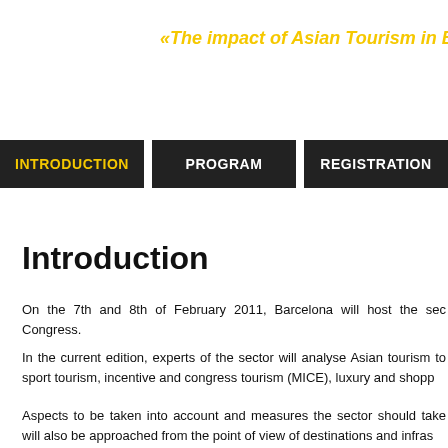«The impact of Asian Tourism in B
INTRODUCTION
PROGRAM
REGISTRATION
Introduction
On the 7th and 8th of February 2011, Barcelona will host the sec Congress.
In the current edition, experts of the sector will analyse Asian tourism to sport tourism, incentive and congress tourism (MICE), luxury and shopp
Aspects to be taken into account and measures the sector should take will also be approached from the point of view of destinations and infras